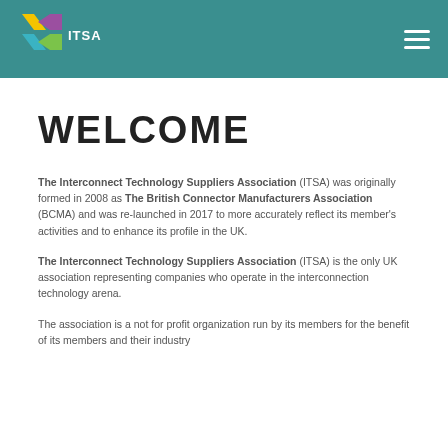[Figure (logo): ITSA logo with colorful X shape and ITSA text, on teal header bar]
WELCOME
The Interconnect Technology Suppliers Association (ITSA) was originally formed in 2008 as The British Connector Manufacturers Association (BCMA) and was re-launched in 2017 to more accurately reflect its member's activities and to enhance its profile in the UK.
The Interconnect Technology Suppliers Association (ITSA) is the only UK association representing companies who operate in the interconnection technology arena.
The association is a not for profit organization run by its members for the benefit of its members and their industry